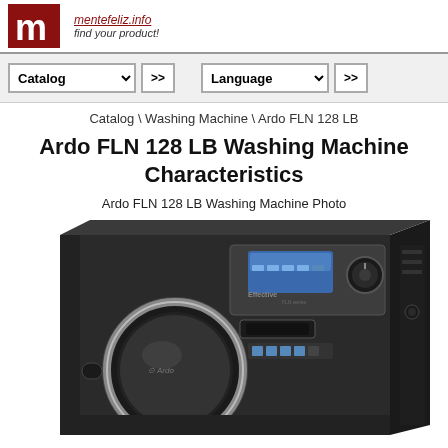mentefeliz.info — find your product!
Catalog >> Language >>
Catalog \ Washing Machine \ Ardo FLN 128 LB
Ardo FLN 128 LB Washing Machine Characteristics
Ardo FLN 128 LB Washing Machine Photo
[Figure (photo): Photo of Ardo FLN 128 LB front-loading washing machine in dark/black color with chrome door ring, digital display panel, and control knob, viewed from a slight angle]